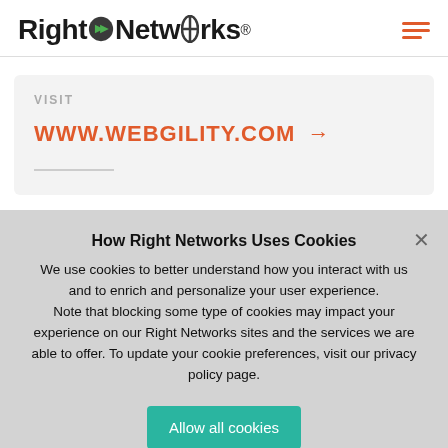[Figure (logo): Right Networks logo with green arrow icon between 'Right' and 'Networks' text and registered trademark symbol]
VISIT
WWW.WEBGILITY.COM →
How Right Networks Uses Cookies
We use cookies to better understand how you interact with us and to enrich and personalize your user experience. Note that blocking some type of cookies may impact your experience on our Right Networks sites and the services we are able to offer. To update your cookie preferences, visit our privacy policy page.
Allow all cookies
Use only necessary cookies
Privacy Policy